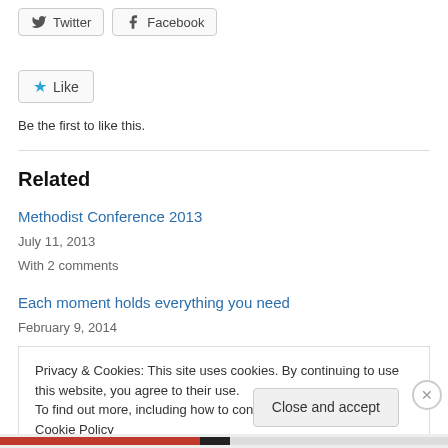[Figure (other): Share buttons: Twitter and Facebook]
[Figure (other): Like button with star icon]
Be the first to like this.
Related
Methodist Conference 2013
July 11, 2013
With 2 comments
Each moment holds everything you need
February 9, 2014
Privacy & Cookies: This site uses cookies. By continuing to use this website, you agree to their use.
To find out more, including how to control cookies, see here: Cookie Policy
Close and accept